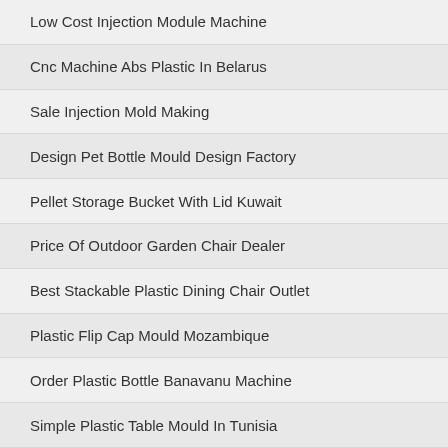Low Cost Injection Module Machine
Cnc Machine Abs Plastic In Belarus
Sale Injection Mold Making
Design Pet Bottle Mould Design Factory
Pellet Storage Bucket With Lid Kuwait
Price Of Outdoor Garden Chair Dealer
Best Stackable Plastic Dining Chair Outlet
Plastic Flip Cap Mould Mozambique
Order Plastic Bottle Banavanu Machine
Simple Plastic Table Mould In Tunisia